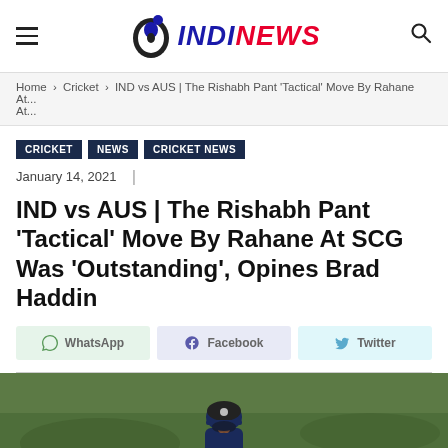INDINEWS
Home › Cricket › IND vs AUS | The Rishabh Pant 'Tactical' Move By Rahane At...
CRICKET  NEWS  CRICKET NEWS
January 14, 2021  |
IND vs AUS | The Rishabh Pant 'Tactical' Move By Rahane At SCG Was 'Outstanding', Opines Brad Haddin
[Figure (screenshot): Social share buttons: WhatsApp, Facebook, Twitter]
[Figure (photo): Cricket player wearing Indian team helmet, photographed outdoors on a green field]